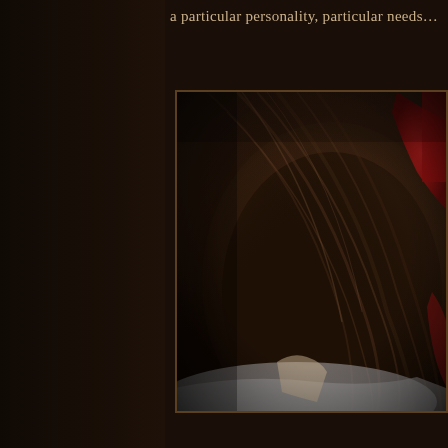a particular personality, particular needs…
[Figure (illustration): Dark scene showing the back of a person's head with dark brown hair, partially viewed from behind. A red element is visible in the upper right. The scene is very dark with warm brown tones. The image is framed within a rectangular border with a dark wooden panel on the left side.]